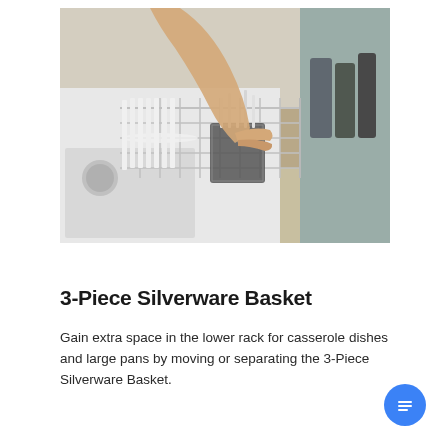[Figure (photo): A person loading dishes and silverware into the lower rack of an open dishwasher. The dishwasher basket is visible with utensils, and plates are stacked in the rack.]
3-Piece Silverware Basket
Gain extra space in the lower rack for casserole dishes and large pans by moving or separating the 3-Piece Silverware Basket.